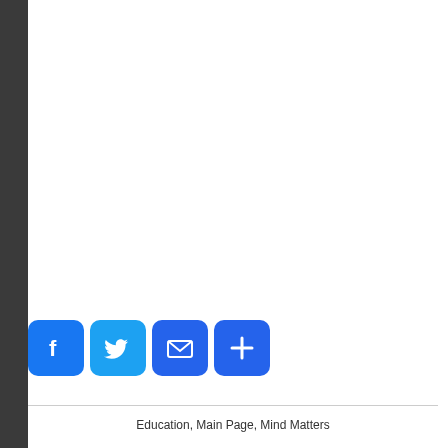[Figure (infographic): Social sharing icons: Facebook (blue rounded square with 'f'), Twitter (light blue rounded square with bird), Mail (blue rounded square with envelope), Plus/Share (blue rounded square with '+')]
Education, Main Page, Mind Matters